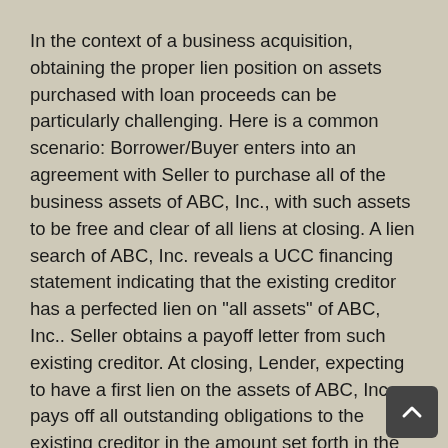In the context of a business acquisition, obtaining the proper lien position on assets purchased with loan proceeds can be particularly challenging. Here is a common scenario: Borrower/Buyer enters into an agreement with Seller to purchase all of the business assets of ABC, Inc., with such assets to be free and clear of all liens at closing. A lien search of ABC, Inc. reveals a UCC financing statement indicating that the existing creditor has a perfected lien on "all assets" of ABC, Inc.. Seller obtains a payoff letter from such existing creditor. At closing, Lender, expecting to have a first lien on the assets of ABC, Inc., pays off all outstanding obligations to the existing creditor in the amount set forth in the payoff letter. Several months later, a post closing lien search of ABC, Inc. reveals that the existing creditor has not filed a UCC